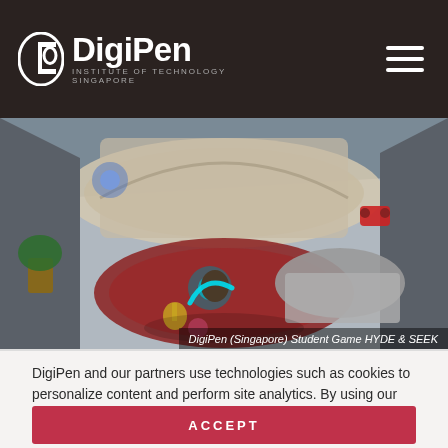DigiPen Institute of Technology Singapore
[Figure (screenshot): Top-down 3D game scene showing an interior room with characters and furniture from the student game HYDE & SEEK]
DigiPen (Singapore) Student Game HYDE & SEEK
DigiPen and our partners use technologies such as cookies to personalize content and perform site analytics. By using our site, you agree to our use of cookies. Please see our Privacy Policy for more information.
ACCEPT